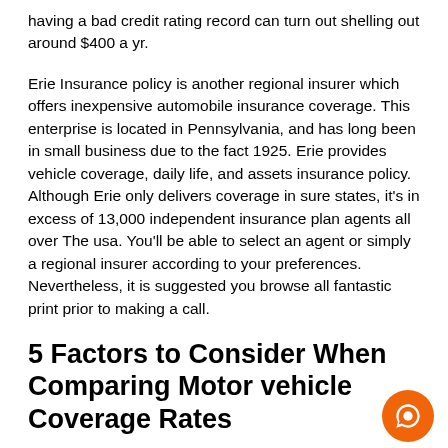having a bad credit rating record can turn out shelling out around $400 a yr.
Erie Insurance policy is another regional insurer which offers inexpensive automobile insurance coverage. This enterprise is located in Pennsylvania, and has long been in small business due to the fact 1925. Erie provides vehicle coverage, daily life, and assets insurance policy. Although Erie only delivers coverage in sure states, it's in excess of 13,000 independent insurance plan agents all over The usa. You'll be able to select an agent or simply a regional insurer according to your preferences. Nevertheless, it is suggested you browse all fantastic print prior to making a call.
5 Factors to Consider When Comparing Motor vehicle Coverage Rates
If you are a significant-chance driver, you need to Review automobile insurance quotes and locate the cheapest policy